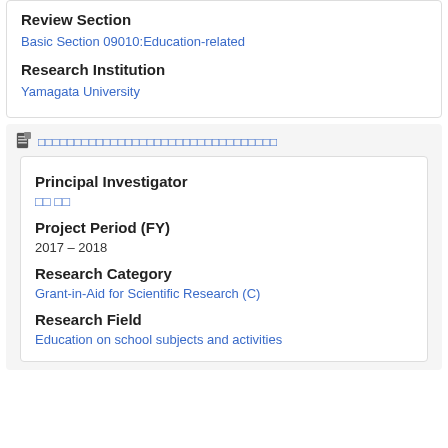Review Section
Basic Section 09010:Education-related
Research Institution
Yamagata University
□□□□□□□□□□□□□□□□□□□□□□□□□□□□□□
Principal Investigator
□□ □□
Project Period (FY)
2017 – 2018
Research Category
Grant-in-Aid for Scientific Research (C)
Research Field
Education on school subjects and activities